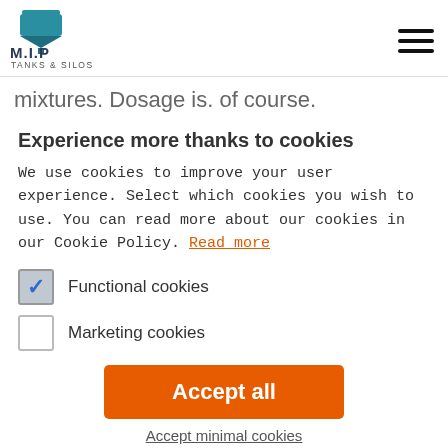[Figure (logo): M.I.P Tanks & Silos logo with blue tank/silo icon above text]
mixtures. Dosage is. of course.
Experience more thanks to cookies
We use cookies to improve your user experience. Select which cookies you wish to use. You can read more about our cookies in our Cookie Policy. Read more
Functional cookies
Marketing cookies
Accept all
Accept minimal cookies